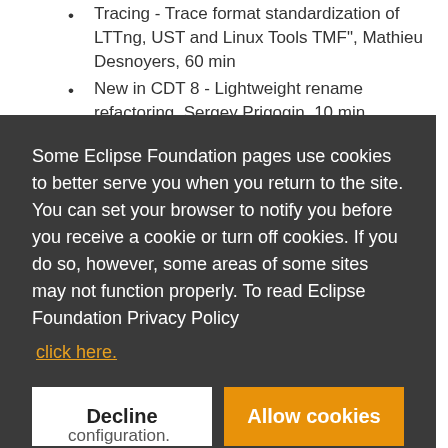Tracing - Trace format standardization of LTTng, UST and Linux Tools TMF", Mathieu Desnoyers, 60 min
New in CDT 8 - Lightweight rename refactoring, Sergey Prigogin, 10 min
Debug - "Eclipse Debugger for C/C++ (EDC)" (see
Some Eclipse Foundation pages use cookies to better serve you when you return to the site. You can set your browser to notify you before you receive a cookie or turn off cookies. If you do so, however, some areas of some sites may not function properly. To read Eclipse Foundation Privacy Policy click here.
Decline
Allow cookies
configuration.